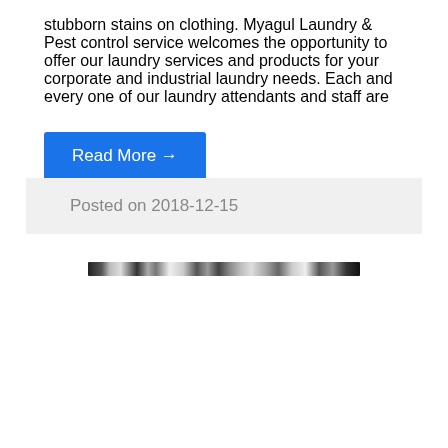stubborn stains on clothing. Myagul Laundry & Pest control service welcomes the opportunity to offer our laundry services and products for your corporate and industrial laundry needs. Each and every one of our laundry attendants and staff are
Read More →
Posted on 2018-12-15
[Figure (screenshot): A narrow horizontal screenshot strip showing a blurred webpage interface]